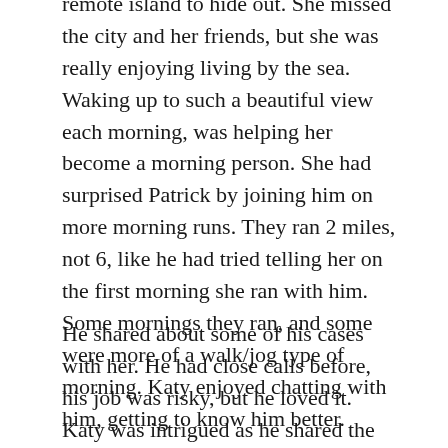remote island to hide out. She missed the city and her friends, but she was really enjoying living by the sea. Waking up to such a beautiful view each morning, was helping her become a morning person. She had surprised Patrick by joining him on more morning runs. They ran 2 miles, not 6, like he had tried telling her on the first morning she ran with him. Some mornings they ran, and some were more of a walk/jog type of morning. Katy enjoyed chatting with him, getting to know him better.
He shared about some of his cases with her. He had close calls before, his job was risky, but he loved it. Katy was intrigued as he shared the story about the young woman Tanya, whose name was really Anna. What a story! She felt a little strange about the fact that Tanya had been hiding out in this very cottage that Katy was in